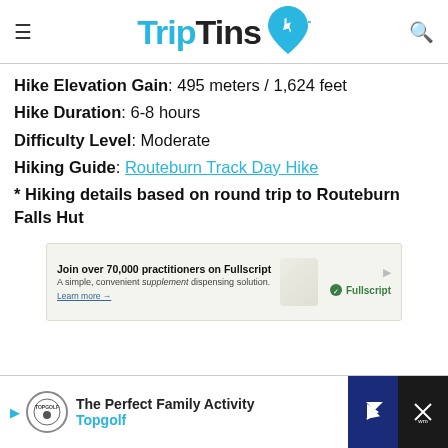TripTins
Hike Elevation Gain: 495 meters / 1,624 feet
Hike Duration: 6-8 hours
Difficulty Level: Moderate
Hiking Guide: Routeburn Track Day Hike
* Hiking details based on round trip to Routeburn Falls Hut
[Figure (other): Fullscript advertisement banner: Join over 70,000 practitioners on Fullscript. A simple, convenient supplement dispensing solution. Learn more.]
[Figure (other): Topgolf advertisement banner: The Perfect Family Activity - Topgolf]